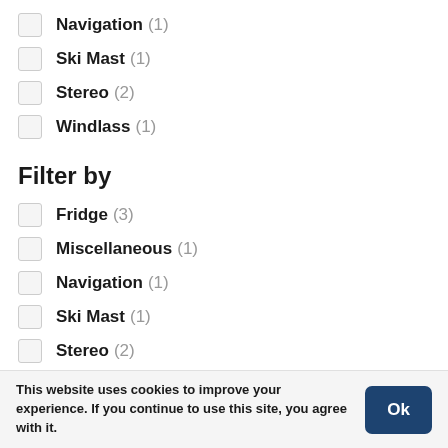Navigation (1)
Ski Mast (1)
Stereo (2)
Windlass (1)
Filter by
Fridge (3)
Miscellaneous (1)
Navigation (1)
Ski Mast (1)
Stereo (2)
Windlass (1)
This website uses cookies to improve your experience. If you continue to use this site, you agree with it.